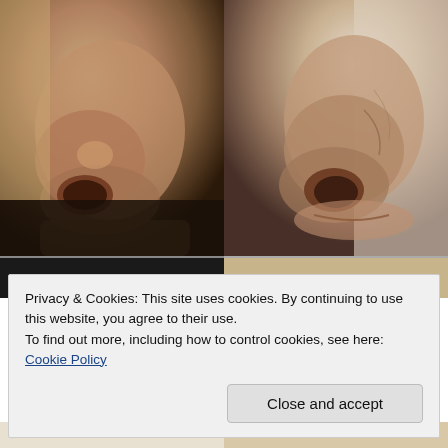[Figure (photo): Two close-up side-profile photos of a man's nose and lower face. Left photo shows the nose from a lower angle with warm beige/tan skin tones. Right photo shows the nose from a similar angle with slightly lighter skin tones and visible wrinkles.]
[Figure (photo): Partial view of a second pair of photos partially visible behind the cookie consent banner — left is a dark/black rectangle, right is a beige/tan color.]
Privacy & Cookies: This site uses cookies. By continuing to use this website, you agree to their use.
To find out more, including how to control cookies, see here: Cookie Policy
Close and accept